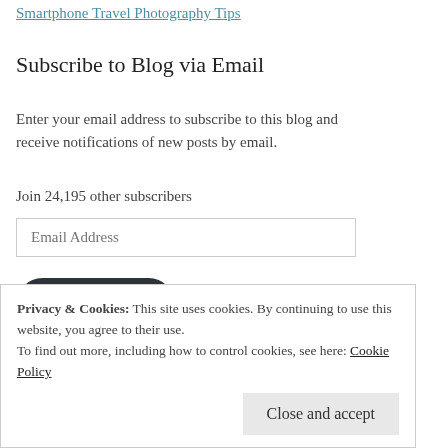Smartphone Travel Photography Tips
Subscribe to Blog via Email
Enter your email address to subscribe to this blog and receive notifications of new posts by email.
Join 24,195 other subscribers
Email Address
Subscribe
Privacy & Cookies: This site uses cookies. By continuing to use this website, you agree to their use.
To find out more, including how to control cookies, see here: Cookie Policy
Close and accept